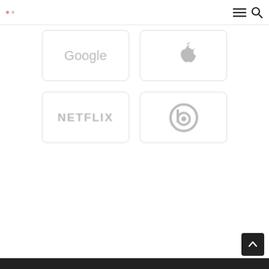Navigation bar with menu and search icons
[Figure (logo): Google logo text in light gray]
[Figure (logo): Apple logo icon in light gray]
[Figure (logo): NETFLIX logo text in light gray]
[Figure (logo): Beats by Dre logo icon in light gray]
Dark footer bar with back-to-top arrow button